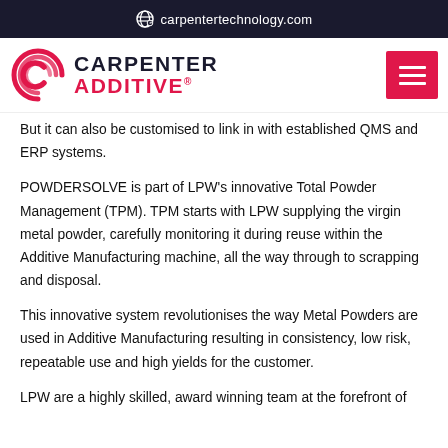carpentertechnology.com
[Figure (logo): Carpenter Additive logo with stylized C emblem in red/pink and hamburger menu button]
But it can also be customised to link in with established QMS and ERP systems.
POWDERSOLVE is part of LPW's innovative Total Powder Management (TPM). TPM starts with LPW supplying the virgin metal powder, carefully monitoring it during reuse within the Additive Manufacturing machine, all the way through to scrapping and disposal.
This innovative system revolutionises the way Metal Powders are used in Additive Manufacturing resulting in consistency, low risk, repeatable use and high yields for the customer.
LPW are a highly skilled, award winning team at the forefront of